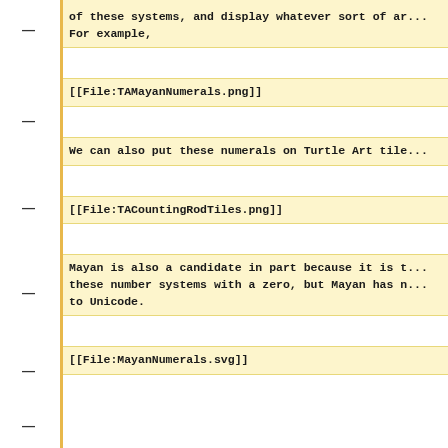of these systems, and display whatever sort of ar... For example,
[[File:TAMayanNumerals.png]]
We can also put these numerals on Turtle Art tile...
[[File:TACountingRodTiles.png]]
Mayan is also a candidate in part because it is t... these number systems with a zero, but Mayan has n... to Unicode.
[[File:MayanNumerals.svg]]